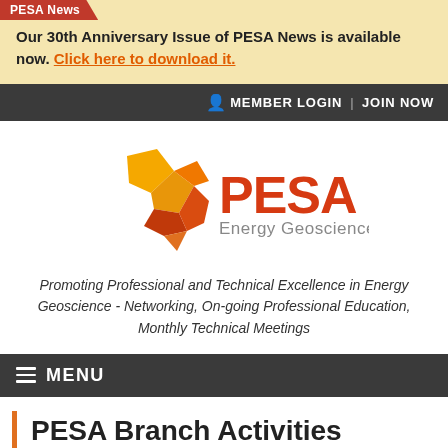PESA News
Our 30th Anniversary Issue of PESA News is available now. Click here to download it.
MEMBER LOGIN | JOIN NOW
[Figure (logo): PESA Energy Geoscience logo with stylized Australia map shape in yellow, orange and red, with PESA text in orange-red and 'Energy Geoscience' in grey]
Promoting Professional and Technical Excellence in Energy Geoscience - Networking, On-going Professional Education, Monthly Technical Meetings
≡ MENU
PESA Branch Activities